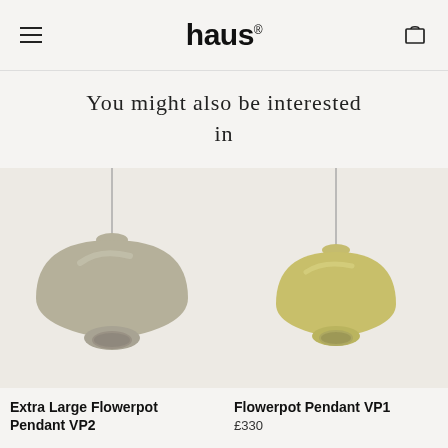haus
You might also be interested in
[Figure (photo): Extra Large Flowerpot Pendant VP2 pendant lamp in grey/beige color hanging from a thin cable against a light background]
Extra Large Flowerpot Pendant VP2
[Figure (photo): Flowerpot Pendant VP1 pendant lamp in yellow/olive color hanging from a thin cable against a light background]
Flowerpot Pendant VP1
£330